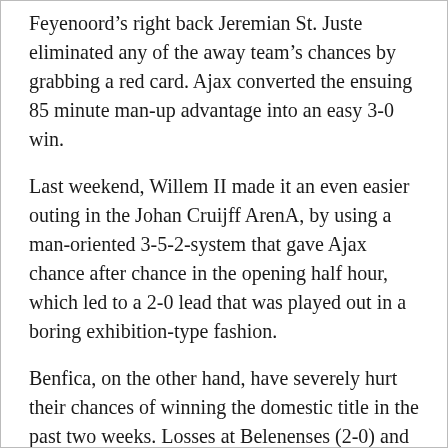Feyenoord's right back Jeremian St. Juste eliminated any of the away team's chances by grabbing a red card. Ajax converted the ensuing 85 minute man-up advantage into an easy 3-0 win.
Last weekend, Willem II made it an even easier outing in the Johan Cruijff ArenA, by using a man-oriented 3-5-2-system that gave Ajax chance after chance in the opening half hour, which led to a 2-0 lead that was played out in a boring exhibition-type fashion.
Benfica, on the other hand, have severely hurt their chances of winning the domestic title in the past two weeks. Losses at Belenenses (2-0) and at home against Moreirense (1-3) – both mid-table sides, at best – mean that Benfica see